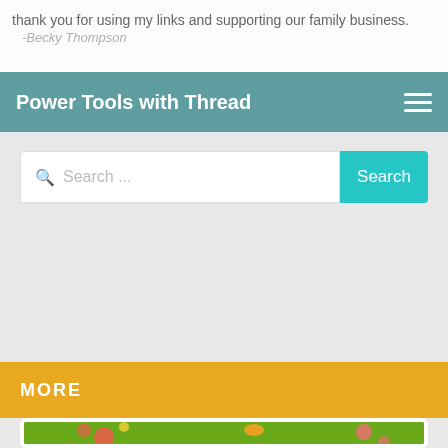thank you for using my links and supporting our family business.
-Becky Thompson
Power Tools with Thread
Search ...
MORE
[Figure (illustration): Embrilliance embroidery software promotional graphic with green background, flowers, and a bird, showing a stylus/pen tool and the Embrilliance logo on a yellow label]